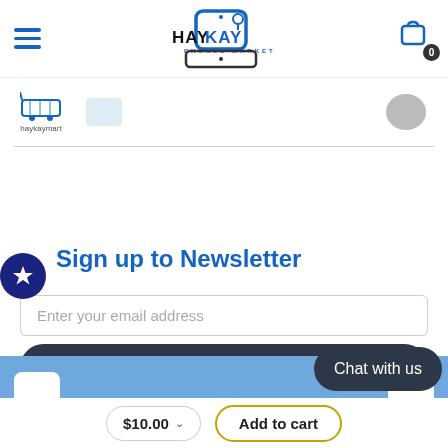HAYKAY PHONES MARKET — navigation header with hamburger menu, logo, and cart icon showing 0 items
[Figure (logo): Haykay Mart brand logo icon (shopping cart icon in blue) with text 'haykaymart' below]
[Figure (logo): Round gray Apple logo icon]
Sign up to Newsletter
Enter your email address
Submit
Chat with us
$10.00
Add to cart